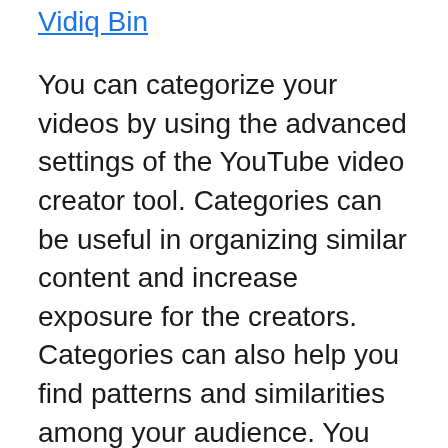Vidiq Bin
You can categorize your videos by using the advanced settings of the YouTube video creator tool. Categories can be useful in organizing similar content and increase exposure for the creators. Categories can also help you find patterns and similarities among your audience. You can boost your video’s ranking by identifying patterns. You can create playlists based on the topics and features that your viewers enjoy. Once you’ve got these metrics, it is time to begin optimizing your videos for YouTube.
YouTube video marketing isn’t complete without keyword research. TubeBuddy’s keyword tool can help you discover popular